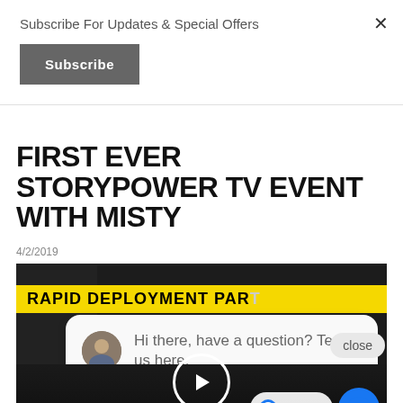Subscribe For Updates & Special Offers
Subscribe
FIRST EVER STORYPOWER TV EVENT WITH MISTY
4/2/2019
[Figure (screenshot): Video thumbnail showing a dark event venue with a 'RAPID DEPLOYMENT PART' yellow banner, a chat bubble overlay saying 'Hi there, have a question? Text us here.', a play button circle, and a Facebook Messenger chat widget at bottom right.]